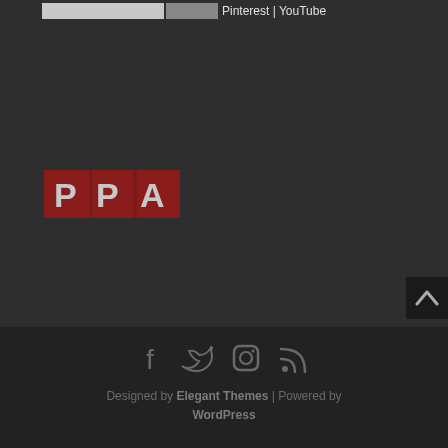Pinterest | YouTube
[Figure (logo): PPA logo — dark red rectangle with bold white letters P P A]
Designed by Elegant Themes | Powered by WordPress